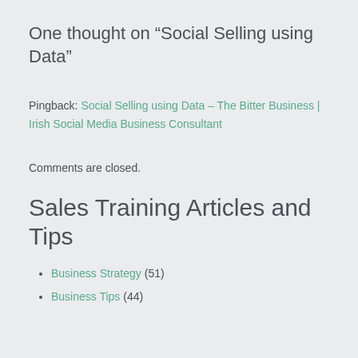One thought on “Social Selling using Data”
Pingback: Social Selling using Data – The Bitter Business | Irish Social Media Business Consultant
Comments are closed.
Sales Training Articles and Tips
Business Strategy (51)
Business Tips (44)